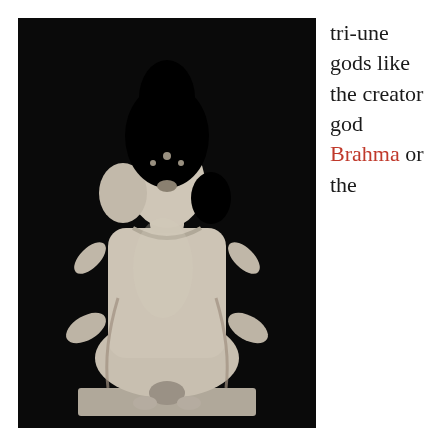[Figure (photo): A detailed stone sculpture of Brahma, the Hindu creator god, depicted with multiple heads and multiple arms, seated on an elaborate base, with intricate ornamentation, photographed against a dark background.]
tri-une gods like the creator god Brahma or the